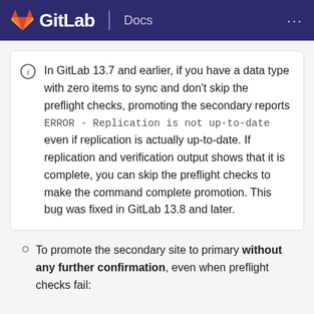GitLab Docs
In GitLab 13.7 and earlier, if you have a data type with zero items to sync and don't skip the preflight checks, promoting the secondary reports ERROR - Replication is not up-to-date even if replication is actually up-to-date. If replication and verification output shows that it is complete, you can skip the preflight checks to make the command complete promotion. This bug was fixed in GitLab 13.8 and later.
To promote the secondary site to primary without any further confirmation, even when preflight checks fail: